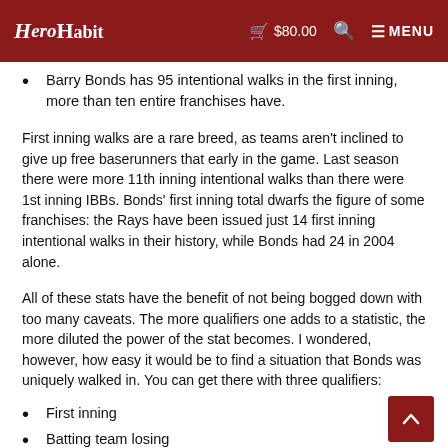HeroHabit  $80.00  [search]  MENU
Barry Bonds has 95 intentional walks in the first inning, more than ten entire franchises have.
First inning walks are a rare breed, as teams aren't inclined to give up free baserunners that early in the game. Last season there were more 11th inning intentional walks than there were 1st inning IBBs. Bonds' first inning total dwarfs the figure of some franchises: the Rays have been issued just 14 first inning intentional walks in their history, while Bonds had 24 in 2004 alone.
All of these stats have the benefit of not being bogged down with too many caveats. The more qualifiers one adds to a statistic, the more diluted the power of the stat becomes. I wondered, however, how easy it would be to find a situation that Bonds was uniquely walked in. You can get there with three qualifiers:
First inning
Batting team losing